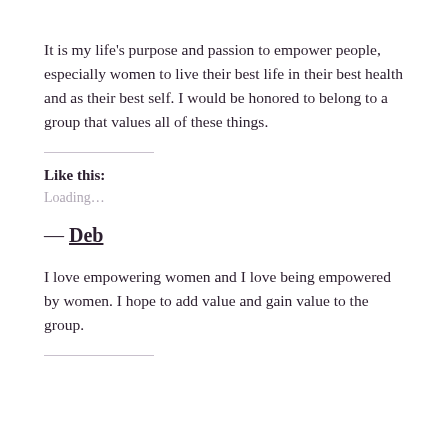It is my life's purpose and passion to empower people, especially women to live their best life in their best health and as their best self. I would be honored to belong to a group that values all of these things.
Like this:
Loading...
— Deb
I love empowering women and I love being empowered by women. I hope to add value and gain value to the group.